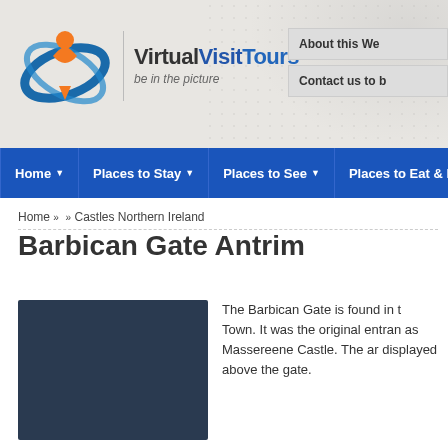[Figure (logo): Virtual Visit Tours logo with circular blue swoosh, orange figure, and text 'Virtual Visit Tours - be in the picture']
[Figure (screenshot): Navigation buttons: 'About this We...' and 'Contact us to b...']
[Figure (infographic): Blue navigation bar with Home, Places to Stay, Places to See, Places to Eat & Drink menu items]
Home »  » Castles Northern Ireland
Barbican Gate Antrim
[Figure (photo): 360 degree virtual tour image of Barbican Gate showing castle gate with street lights and blue sky, with 360° overlay icon]
The Barbican Gate is found in t Town. It was the original entran as Massereene Castle. The ar displayed above the gate.